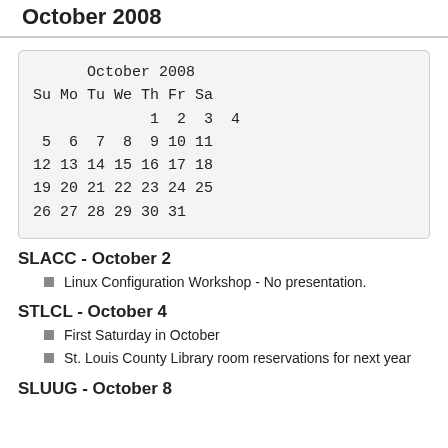October 2008
[Figure (other): Monthly calendar for October 2008 showing dates 1-31 arranged in a Su Mo Tu We Th Fr Sa grid layout]
SLACC - October 2
Linux Configuration Workshop - No presentation.
STLCL - October 4
First Saturday in October
St. Louis County Library room reservations for next year
SLUUG - October 8